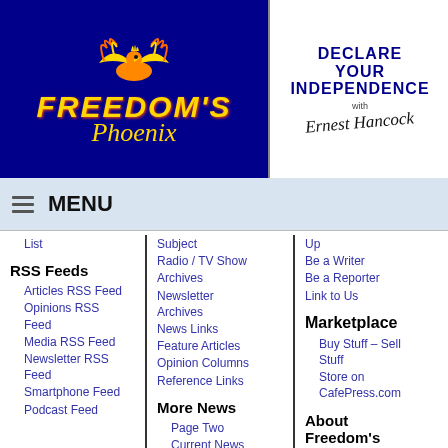[Figure (logo): Freedom's Phoenix logo with golden phoenix bird on dark blue background, text says Freedom's Phoenix]
[Figure (logo): Declare Your Independence with Ernest Hancock logo, blue text on white background with handwritten signature]
MENU
List
RSS Feeds
Articles RSS Feed
Opinions RSS Feed
Media RSS Feed
Newsletter RSS Feed
Smartphone Feed
Podcast Feed
Subject
Radio / TV Show
Archives
Newsletter Archives
News Links
Feature Articles
Opinion Columns
Reference Links
More News
Page Two
Current News
Discussions
Freedom Forum
Up
Be a Writer
Be a Reporter
Link to Us
Marketplace
Buy Stuff – Sell Stuff
Store on CafePress.com
About Freedom's Phoenix
About Us
Contact Us